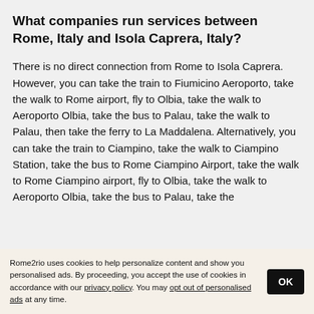What companies run services between Rome, Italy and Isola Caprera, Italy?
There is no direct connection from Rome to Isola Caprera. However, you can take the train to Fiumicino Aeroporto, take the walk to Rome airport, fly to Olbia, take the walk to Aeroporto Olbia, take the bus to Palau, take the walk to Palau, then take the ferry to La Maddalena. Alternatively, you can take the train to Ciampino, take the walk to Ciampino Station, take the bus to Rome Ciampino Airport, take the walk to Rome Ciampino airport, fly to Olbia, take the walk to Aeroporto Olbia, take the bus to Palau, take the
Rome2rio uses cookies to help personalize content and show you personalised ads. By proceeding, you accept the use of cookies in accordance with our privacy policy. You may opt out of personalised ads at any time.